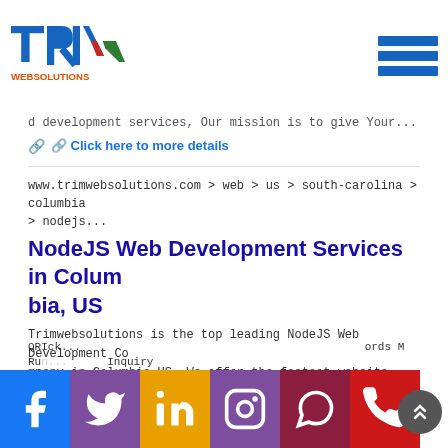[Figure (logo): TRIM Websolutions logo with blue T, R, colorful checkmark M, and orange WEBSOLUTIONS text below]
[Figure (other): Hamburger menu icon with three blue horizontal bars]
d development services, Our mission is to give Your...
🔗 Click here to more details
www.trimwebsolutions.com > web > us > south-carolina > columbia > nodejs...
NodeJS Web Development Services in Columbia, US
Trimwebsolutions is the top leading NodeJS Web Development Company in Columbia US. We offer the fastest website application using NodeJS development Services. Node...
🔗 Click here to more details
www.trimwebsolutions.com > web > us > south-carolina > columbia > adv...
QRIck... ords M
Run... Inquiry
ana...
[Figure (other): Social media bar with Facebook, Twitter, LinkedIn, Instagram, WhatsApp, and phone icons]